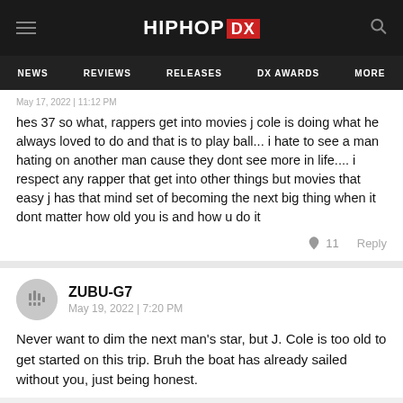HIPHOP DX
NEWS | REVIEWS | RELEASES | DX AWARDS | MORE
hes 37 so what, rappers get into movies j cole is doing what he always loved to do and that is to play ball... i hate to see a man hating on another man cause they dont see more in life.... i respect any rapper that get into other things but movies that easy j has that mind set of becoming the next big thing when it dont matter how old you is and how u do it
🔥 11   Reply
ZUBU-G7
May 19, 2022 | 7:20 PM
Never want to dim the next man's star, but J. Cole is too old to get started on this trip. Bruh the boat has already sailed without you, just being honest.